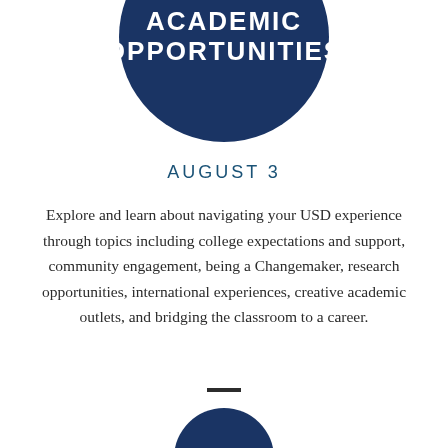ACADEMIC OPPORTUNITIES
AUGUST 3
Explore and learn about navigating your USD experience through topics including college expectations and support, community engagement, being a Changemaker, research opportunities, international experiences, creative academic outlets, and bridging the classroom to a career.